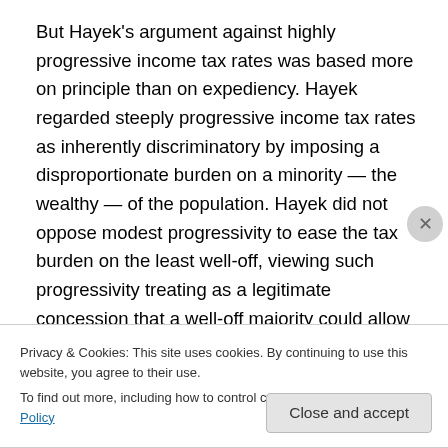But Hayek's argument against highly progressive income tax rates was based more on principle than on expediency. Hayek regarded steeply progressive income tax rates as inherently discriminatory by imposing a disproportionate burden on a minority — the wealthy — of the population. Hayek did not oppose modest progressivity to ease the tax burden on the least well-off, viewing such progressivity treating as a legitimate concession that a well-off majority could allow to a less-well-off minority. But he greatly feared attempts by the majority to shift the burden of taxation
Privacy & Cookies: This site uses cookies. By continuing to use this website, you agree to their use.
To find out more, including how to control cookies, see here: Cookie Policy